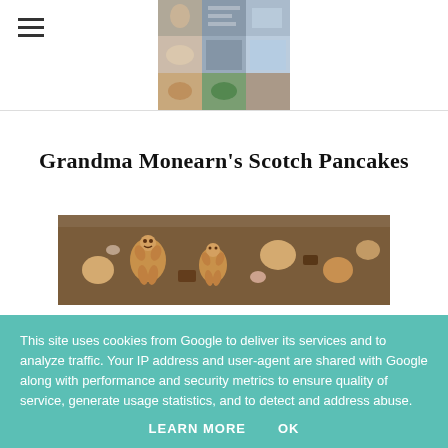Navigation menu and logo grid
Grandma Monearn's Scotch Pancakes
[Figure (photo): Close-up photo of gingerbread man cookies and other biscuits piled together]
This site uses cookies from Google to deliver its services and to analyze traffic. Your IP address and user-agent are shared with Google along with performance and security metrics to ensure quality of service, generate usage statistics, and to detect and address abuse.
LEARN MORE   OK